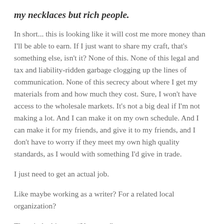my necklaces but rich people.
In short... this is looking like it will cost me more money than I'll be able to earn. If I just want to share my craft, that's something else, isn't it? None of this. None of this legal and tax and liability-ridden garbage clogging up the lines of communication. None of this secrecy about where I get my materials from and how much they cost. Sure, I won't have access to the wholesale markets. It's not a big deal if I'm not making a lot. And I can make it on my own schedule. And I can make it for my friends, and give it to my friends, and I don't have to worry if they meet my own high quality standards, as I would with something I'd give in trade.
I just need to get an actual job.
Like maybe working as a writer? For a related local organization?
The wind whispers, “Yesssss...”